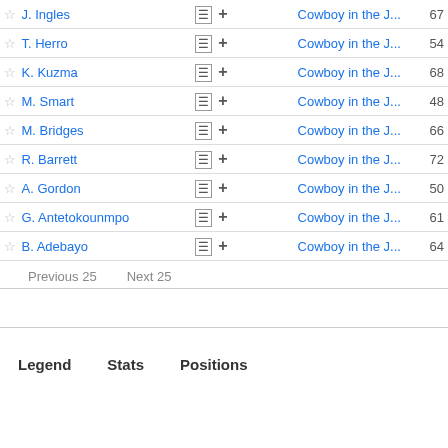| Player |  | Team | Score |
| --- | --- | --- | --- |
| J. Ingles | ☰ + | Cowboy in the J... | 67 |
| T. Herro | ☰ + | Cowboy in the J... | 54 |
| K. Kuzma | ☰ + | Cowboy in the J... | 68 |
| M. Smart | ☰ + | Cowboy in the J... | 48 |
| M. Bridges | ☰ + | Cowboy in the J... | 66 |
| R. Barrett | ☰ + | Cowboy in the J... | 72 |
| A. Gordon | ☰ + | Cowboy in the J... | 50 |
| G. Antetokounmpo | ☰ + | Cowboy in the J... | 61 |
| B. Adebayo | ☰ + | Cowboy in the J... | 64 |
Previous 25   Next 25
Legend   Stats   Positions